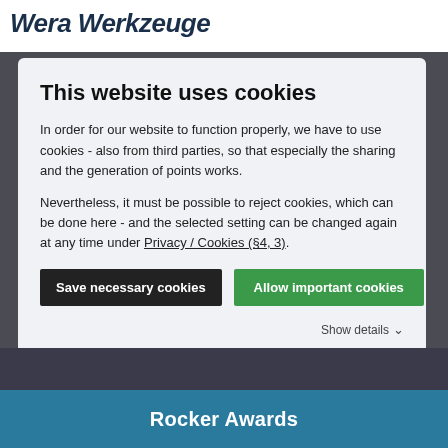Wera Werkzeuge
This website uses cookies
In order for our website to function properly, we have to use cookies - also from third parties, so that especially the sharing and the generation of points works.
Nevertheless, it must be possible to reject cookies, which can be done here - and the selected setting can be changed again at any time under Privacy / Cookies (§4, 3).
Save necessary cookies
Allow important cookies
Show details
create a gripping, entertaining photo ? meme that the world needs to see!
Rocker Awards